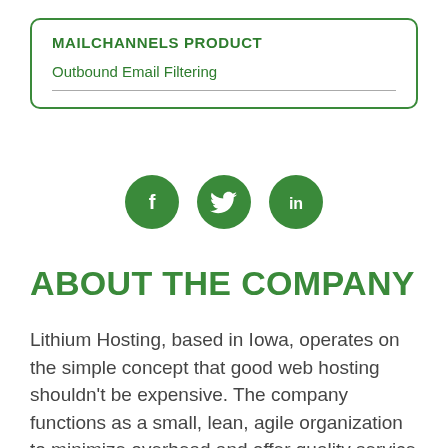MAILCHANNELS PRODUCT
Outbound Email Filtering
[Figure (illustration): Three green circular social media icons: Facebook (f), Twitter (bird), LinkedIn (in)]
ABOUT THE COMPANY
Lithium Hosting, based in Iowa, operates on the simple concept that good web hosting shouldn't be expensive. The company functions as a small, lean, agile organization to minimize overhead and offer quality service at a low price.